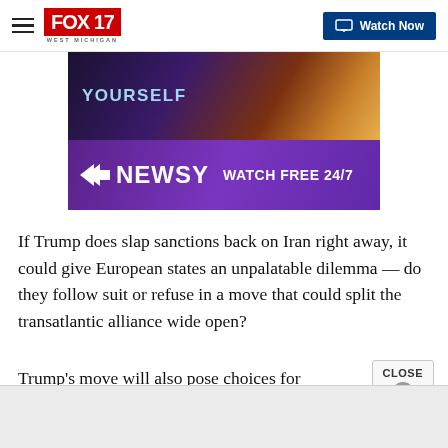FOX 17 WEST MICHIGAN | Watch Now
[Figure (screenshot): Newsy advertisement banner showing 'WATCH FREE 24/7' on purple background with Newsy logo]
If Trump does slap sanctions back on Iran right away, it could give European states an unpalatable dilemma — do they follow suit or refuse in a move that could split the transatlantic alliance wide open?
Trump's move will also pose choices for Iran.